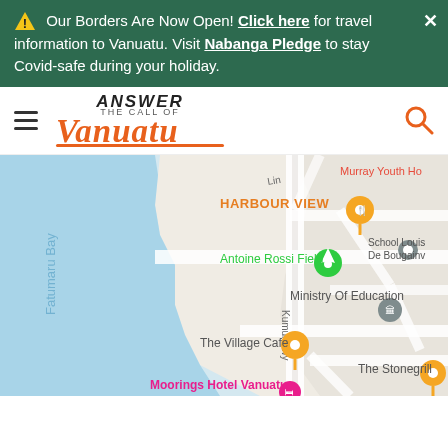⚠ Our Borders Are Now Open! Click here for travel information to Vanuatu. Visit Nabanga Pledge to stay Covid-safe during your holiday.
[Figure (logo): Answer the Call of Vanuatu tourism logo with hamburger menu and search icon]
[Figure (map): Google Maps view of Port Vila, Vanuatu showing Fatumaru Bay, Harbour View restaurant, Antoine Rossi Field, Ministry of Education, School Louis De Bougainv, Murray Youth Ho, The Village Cafe, The Stonegrill, Moorings Hotel Vanuatu, with Kumul Hwy road label]